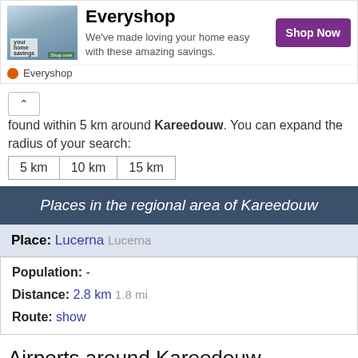[Figure (screenshot): Everyshop advertisement banner with image of people, title 'Everyshop', description text, and 'Shop Now' button]
found within 5 km around Kareedouw. You can expand the radius of your search: 5 km  10 km  15 km
Places in the regional area of Kareedouw
Place: Lucerna Lucerna
Population: -
Distance: 2.8 km  1.8 mi
Route: show
Airports around Kareedouw
No airports found within 15 km around Kareedouw. You can expand the radius of your search: 15 km  50 km  100 km